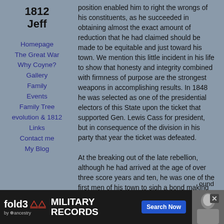1812
Jeff
Homepage
The Great War
Why Coyne?
Gallery
Family
Events
Family Tree
evolution & 1812
Links
Contact me
My Blog
position enabled him to right the wrongs of his constituents, as he succeeded in obtaining almost the exact amount of reduction that he had claimed should be made to be equitable and just toward his town. We mention this little incident in his life to show that honesty and integrity combined with firmness of purpose are the strongest weapons in accomplishing results. In 1848 he was selected as one of the presidential electors of this State upon the ticket that supported Gen. Lewis Cass for president, but in consequence of the division in his party that year the ticket was defeated.

At the breaking out of the late rebellion, although he had arrived at the age of over three score years and ten, he was one of the first men of his town to sigh a bond making himself personally responsible that his town should bear its proportion of the burdens of the war to prevent a dissolution of the Union. As a public
[Figure (photo): Advertisement banner for fold3 by ancestry: Military Records, Search Now button, photo of soldier]